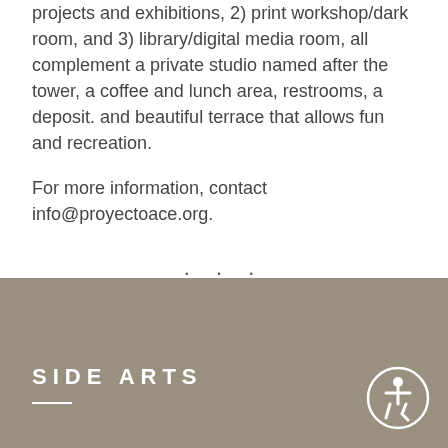projects and exhibitions, 2) print workshop/dark room, and 3) library/digital media room, all complement a private studio named after the tower, a coffee and lunch area, restrooms, a deposit. and beautiful terrace that allows fun and recreation.
For more information, contact info@proyectoace.org.
[Figure (other): Three dots ellipsis separator with two horizontal rules below]
SIDE ARTS